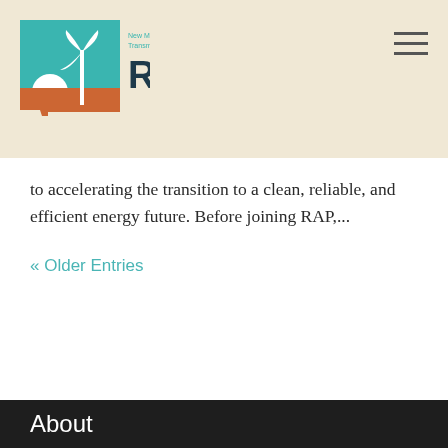[Figure (logo): RETA - New Mexico Renewable Energy Transmission Authority logo with wind turbine, sun, and state outline in teal, white, and orange]
to accelerating the transition to a clean, reliable, and efficient energy future. Before joining RAP,...
« Older Entries
About
[Figure (logo): RETA logo large version on dark background - teal square with wind turbine and sun, orange New Mexico state outline below, white RETA text]
RETA was created by New Mexico lawmakers